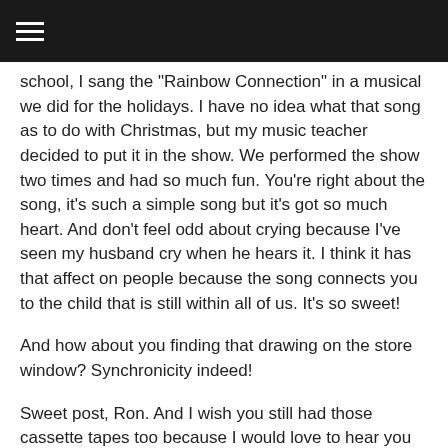school, I sang the "Rainbow Connection" in a musical we did for the holidays. I have no idea what that song as to do with Christmas, but my music teacher decided to put it in the show. We performed the show two times and had so much fun. You're right about the song, it's such a simple song but it's got so much heart. And don't feel odd about crying because I've seen my husband cry when he hears it. I think it has that affect on people because the song connects you to the child that is still within all of us. It's so sweet!
And how about you finding that drawing on the store window? Synchronicity indeed!
Sweet post, Ron. And I wish you still had those cassette tapes too because I would love to hear you sing. xo
OMG, Elaine....thank you SO MUCH for sharing that story. It was faaaaaaaaabulous!!!! Although it's technically a